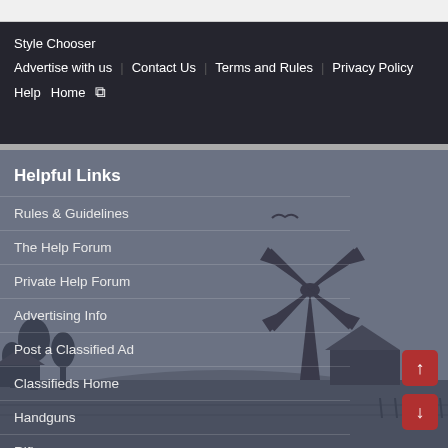Style Chooser  Advertise with us  Contact Us  Terms and Rules  Privacy Policy  Help  Home
Helpful Links
Rules & Guidelines
The Help Forum
Private Help Forum
Advertising Info
Post a Classified Ad
Classifieds Home
Handguns
Rifles
[Figure (illustration): A silhouetted landscape at dusk showing a windmill, farm buildings, trees, and a flying bird against a grey-blue sky background.]